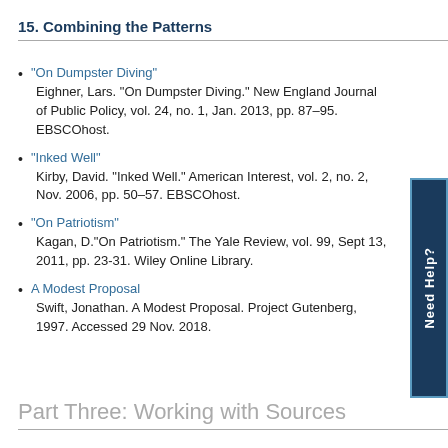15. Combining the Patterns
"On Dumpster Diving"
Eighner, Lars. "On Dumpster Diving." New England Journal of Public Policy, vol. 24, no. 1, Jan. 2013, pp. 87–95. EBSCOhost.
"Inked Well"
Kirby, David. "Inked Well." American Interest, vol. 2, no. 2, Nov. 2006, pp. 50–57. EBSCOhost.
"On Patriotism"
Kagan, D."On Patriotism." The Yale Review, vol. 99, Sept 13, 2011, pp. 23-31. Wiley Online Library.
A Modest Proposal
Swift, Jonathan. A Modest Proposal. Project Gutenberg, 1997. Accessed 29 Nov. 2018.
Part Three: Working with Sources